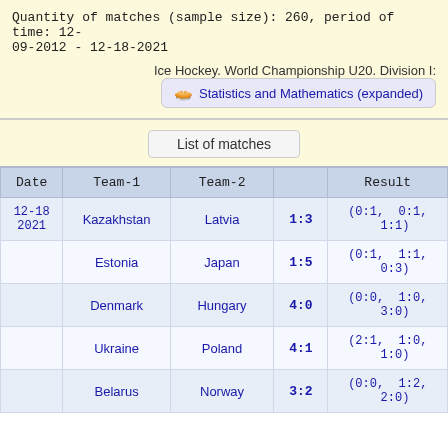Quantity of matches (sample size): 260, period of time: 12-09-2012 - 12-18-2021
Ice Hockey. World Championship U20. Division I:
Statistics and Mathematics (expanded)
List of matches
| Date | Team-1 | Team-2 |  | Result |
| --- | --- | --- | --- | --- |
| 12-18 2021 | Kazakhstan | Latvia | 1:3 | (0:1, 0:1, 1:1) |
|  | Estonia | Japan | 1:5 | (0:1, 1:1, 0:3) |
|  | Denmark | Hungary | 4:0 | (0:0, 1:0, 3:0) |
|  | Ukraine | Poland | 4:1 | (2:1, 1:0, 1:0) |
|  | Belarus | Norway | 3:2 | (0:0, 1:2, 2:0) |